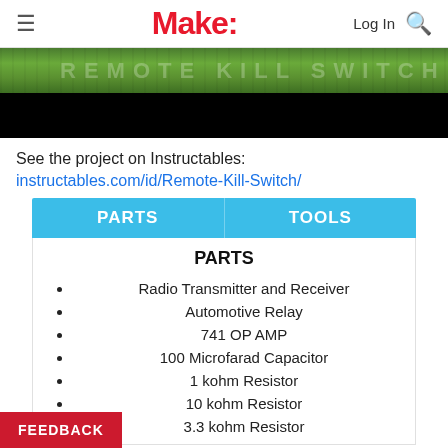Make:
[Figure (photo): Photo of grass lawn (top half) and black strip (bottom half) — part of a project banner image]
See the project on Instructables:
instructables.com/id/Remote-Kill-Switch/
| PARTS | TOOLS |
| --- | --- |
PARTS
Radio Transmitter and Receiver
Automotive Relay
741 OP AMP
100 Microfarad Capacitor
1 kohm Resistor
10 kohm Resistor
3.3 kohm Resistor